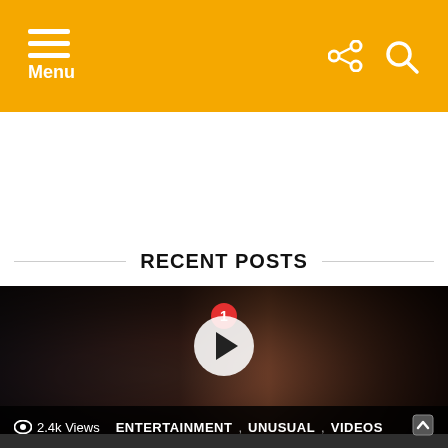Menu
RECENT POSTS
[Figure (photo): A smiling woman with short blonde hair and large gold hoop earrings, holding a cigarette, at a social event. A video play button overlay is shown with a red notification badge showing the number 1.]
2.4k Views   ENTERTAINMENT , UNUSUAL , VIDEOS